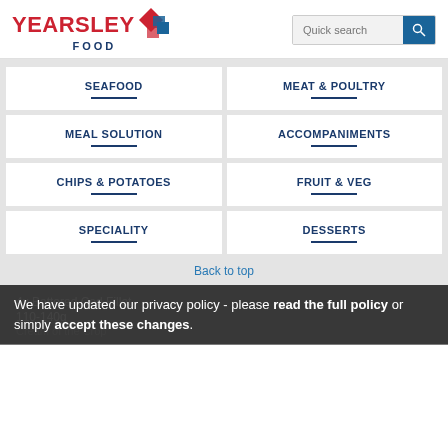[Figure (logo): Yearsley Food logo with red text and blue diamond graphic]
SEAFOOD
MEAT & POULTRY
MEAL SOLUTION
ACCOMPANIMENTS
CHIPS & POTATOES
FRUIT & VEG
SPECIALITY
DESSERTS
Back to top
4x Battered Cod Fillet
110-140g
Cream of the Crop
We have updated our privacy policy - please read the full policy or simply accept these changes.